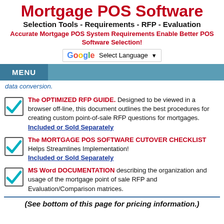Mortgage POS Software
Selection Tools - Requirements - RFP - Evaluation
Accurate Mortgage POS System Requirements Enable Better POS Software Selection!
[Figure (other): Google Translate Select Language widget]
MENU
data conversion.
The OPTIMIZED RFP GUIDE. Designed to be viewed in a browser off-line, this document outlines the best procedures for creating custom point-of-sale RFP questions for mortgages. Included or Sold Separately
The MORTGAGE POS SOFTWARE CUTOVER CHECKLIST Helps Streamlines Implementation! Included or Sold Separately
MS Word DOCUMENTATION describing the organization and usage of the mortgage point of sale RFP and Evaluation/Comparison matrices.
(See bottom of this page for pricing information.)